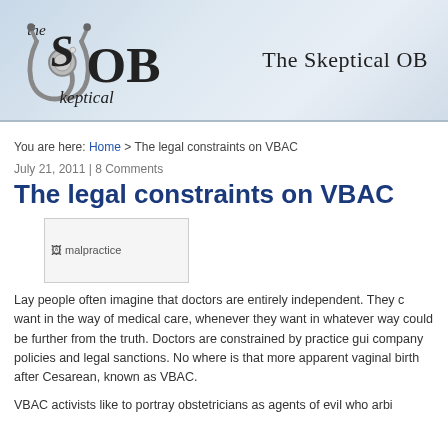[Figure (logo): The Skeptical OB website header banner with a stethoscope logo and stylized 'SOB Skeptical' text alongside 'The Skeptical OB' title on a crumpled paper background]
You are here: Home > The legal constraints on VBAC
July 21, 2011 | 8 Comments
The legal constraints on VBAC
[Figure (photo): malpractice image placeholder]
Lay people often imagine that doctors are entirely independent. They c... want in the way of medical care, whenever they want in whatever way ... could be further from the truth. Doctors are constrained by practice gui... company policies and legal sanctions. No where is that more apparent ... vaginal birth after Cesarean, known as VBAC.
VBAC activists like to portray obstetricians as agents of evil who arbi...